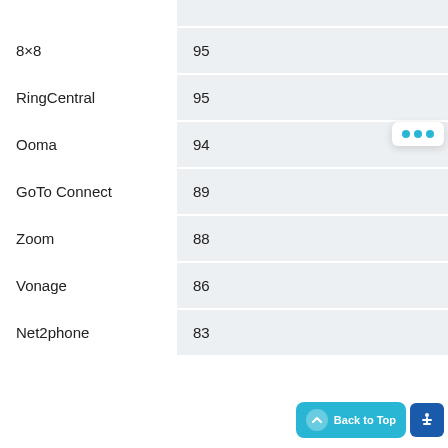| Provider | Score |
| --- | --- |
| 8×8 | 95 |
| RingCentral | 95 |
| Ooma | 94 |
| GoTo Connect | 89 |
| Zoom | 88 |
| Vonage | 86 |
| Net2phone | 83 |